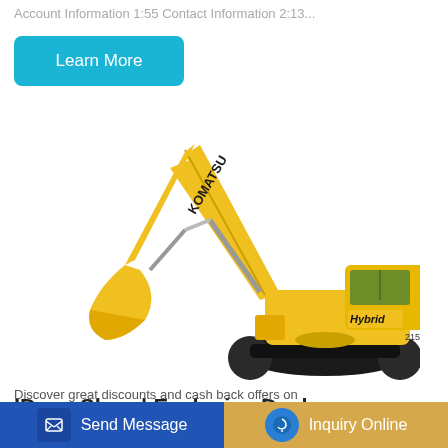Account Information 1:55 Contact Information 2:13...
Learn More
[Figure (photo): Komatsu Hybrid excavator, yellow, on white background]
ID.me Shop | Exclusive Deals, Discounts & Cash Back Offers
Send Message
Inquiry Online
Discover great discounts and cash back offers on